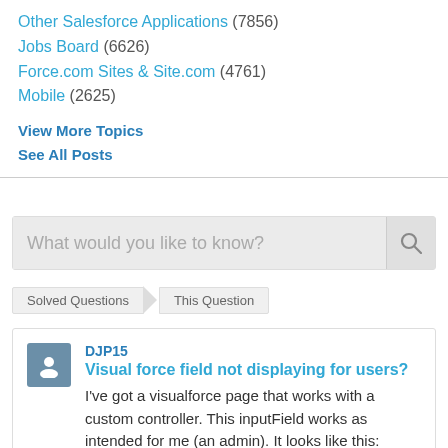Other Salesforce Applications (7856)
Jobs Board (6626)
Force.com Sites & Site.com (4761)
Mobile (2625)
View More Topics
See All Posts
[Figure (screenshot): Search bar with placeholder text 'What would you like to know?' and a search icon button on the right]
Solved Questions > This Question
DJP15
Visual force field not displaying for users?
I've got a visualforce page that works with a custom controller. This inputField works as intended for me (an admin). It looks like this: